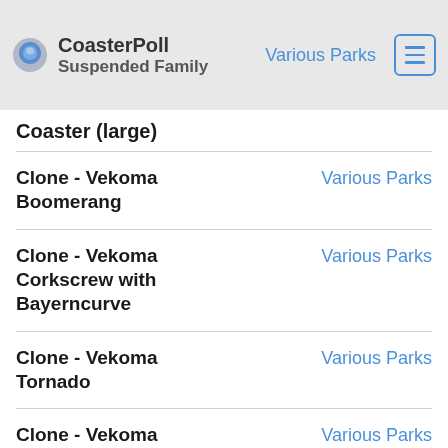CoasterPoll / Clone - Vekoma Suspended Family Coaster (large) | Various Parks
Coaster (large)
Clone - Vekoma Boomerang | Various Parks
Clone - Vekoma Corkscrew with Bayerncurve | Various Parks
Clone - Vekoma Tornado | Various Parks
Clone - Vekoma Double Loop Corkscrew | Various Parks